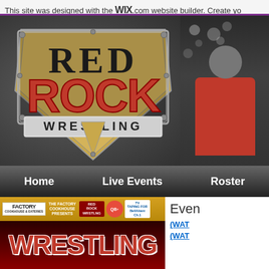This site was designed with the WIX.com website builder. Create yo
[Figure (logo): Red Rock Wrestling logo on dark textured background with shield/diamond shape, 'RED' in gold block letters, 'ROCK' in large red grunge letters, 'WRESTLING' in white on grey banner]
[Figure (photo): Person in red shirt/jacket with lights in background, partial view cut off on right side]
Home     Live Events     Roster
[Figure (infographic): Event banner showing Factory Cookhouse presents Red Rock Wrestling TV taping for Bell Aliant, with WRESTLING text in large red letters]
Even
(WAT
(WAT